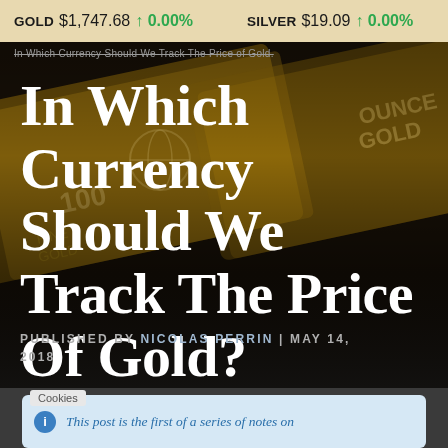GOLD $1,747.68 ↑ 0.00%   SILVER $19.09 ↑ 0.00%
In Which Currency Should We Track The Price of Gold.
In Which Currency Should We Track The Price Of Gold?
PUBLISHED BY NICOLAS PERRIN | MAY 14, 2018
This post is the first of a series of notes on